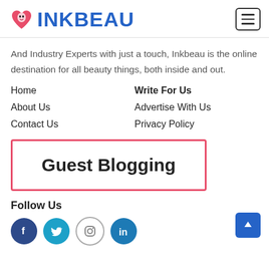[Figure (logo): Inkbeau logo with pink heart/face icon and blue INKBEAU text, plus hamburger menu button]
And Industry Experts with just a touch, Inkbeau is the online destination for all beauty things, both inside and out.
Home
Write For Us
About Us
Advertise With Us
Contact Us
Privacy Policy
[Figure (other): Guest Blogging button with pink/red border]
Follow Us
[Figure (other): Social media icons: Facebook (dark blue circle), Twitter (cyan circle), Instagram (white circle outline), LinkedIn (blue circle)]